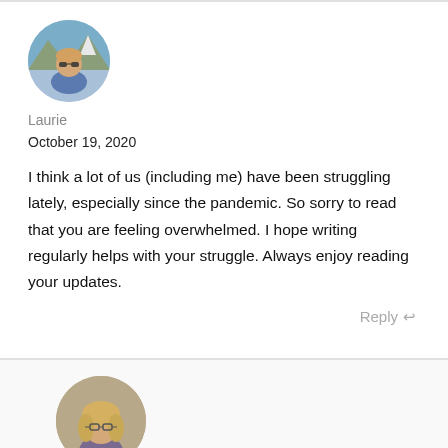[Figure (photo): Circular avatar photo of a woman with sunglasses outdoors, mountain/sky background]
Laurie
October 19, 2020
I think a lot of us (including me) have been struggling lately, especially since the pandemic. So sorry to read that you are feeling overwhelmed. I hope writing regularly helps with your struggle. Always enjoy reading your updates.
Reply
[Figure (photo): Circular avatar photo of a woman with glasses and blonde hair]